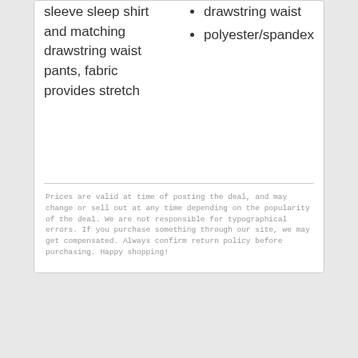sleeve sleep shirt and matching drawstring waist pants, fabric provides stretch
drawstring waist
polyester/spandex
Prices are valid at time of posting the deal, and may change or sell out at any time depending on the popularity of the deal. We are not responsible for typographical errors. If you purchase something through our site, we may get compensated. Always confirm return policy before purchasing. Happy shopping!